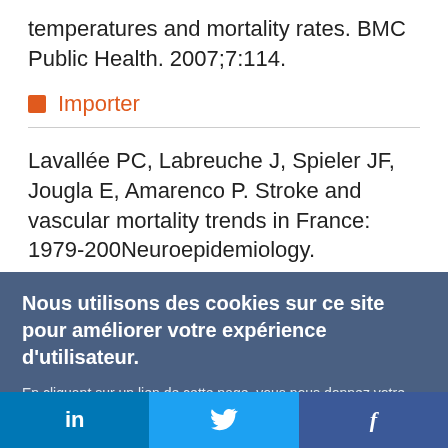temperatures and mortality rates. BMC Public Health. 2007;7:114.
Importer
Lavallée PC, Labreuche J, Spieler JF, Jougla E, Amarenco P. Stroke and vascular mortality trends in France: 1979-200Neuroepidemiology.
Nous utilisons des cookies sur ce site pour améliorer votre expérience d'utilisateur.
En cliquant sur un lien de cette page, vous nous donnez votre consentement de définir des cookies.
Oui, je suis d'accord | Plus d'infos
in  |  (Twitter bird)  |  f